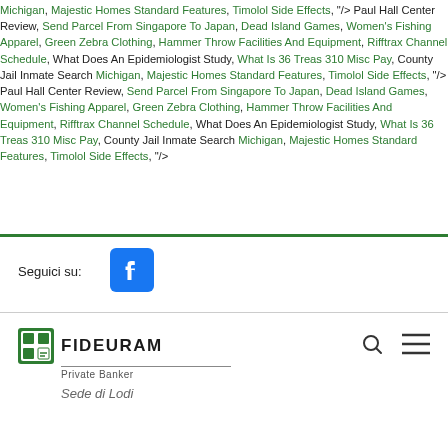Michigan, Majestic Homes Standard Features, Timolol Side Effects, "/> Paul Hall Center Review, Send Parcel From Singapore To Japan, Dead Island Games, Women's Fishing Apparel, Green Zebra Clothing, Hammer Throw Facilities And Equipment, Rifftrax Channel Schedule, What Does An Epidemiologist Study, What Is 36 Treas 310 Misc Pay, County Jail Inmate Search Michigan, Majestic Homes Standard Features, Timolol Side Effects, "/> Paul Hall Center Review, Send Parcel From Singapore To Japan, Dead Island Games, Women's Fishing Apparel, Green Zebra Clothing, Hammer Throw Facilities And Equipment, Rifftrax Channel Schedule, What Does An Epidemiologist Study, What Is 36 Treas 310 Misc Pay, County Jail Inmate Search Michigan, Majestic Homes Standard Features, Timolol Side Effects, "/>
Seguici su:
[Figure (logo): Facebook logo icon - blue square with white f]
[Figure (logo): Fideuram Private Banker logo with search and menu icons, subtitle Sede di Lodi]